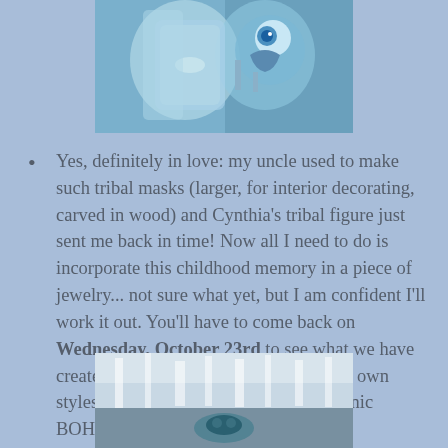[Figure (photo): A blue decorative tribal/ethnic figure or mask with blue googly eyes, photographed against a blurred background]
Yes, definitely in love: my uncle used to make such tribal masks (larger, for interior decorating, carved in wood) and Cynthia's tribal figure just sent me back in time! Now all I need to do is incorporate this childhood memory in a piece of jewelry... not sure what yet, but I am confident I'll work it out. You'll have to come back on Wednesday, October 23rd to see what we have created (and how close we stayed to our own styles, or borrowed from Cynthia's "Ethnic BOHO"!)
[Figure (photo): A blurred waterfall or flowing water scene with a small teal/turquoise figurine or object in the foreground]